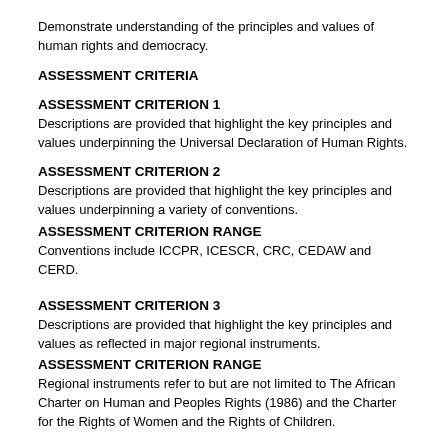Demonstrate understanding of the principles and values of human rights and democracy.
ASSESSMENT CRITERIA
ASSESSMENT CRITERION 1
Descriptions are provided that highlight the key principles and values underpinning the Universal Declaration of Human Rights.
ASSESSMENT CRITERION 2
Descriptions are provided that highlight the key principles and values underpinning a variety of conventions.
ASSESSMENT CRITERION RANGE
Conventions include ICCPR, ICESCR, CRC, CEDAW and CERD.
ASSESSMENT CRITERION 3
Descriptions are provided that highlight the key principles and values as reflected in major regional instruments.
ASSESSMENT CRITERION RANGE
Regional instruments refer to but are not limited to The African Charter on Human and Peoples Rights (1986) and the Charter for the Rights of Women and the Rights of Children.
ASSESSMENT CRITERION 4